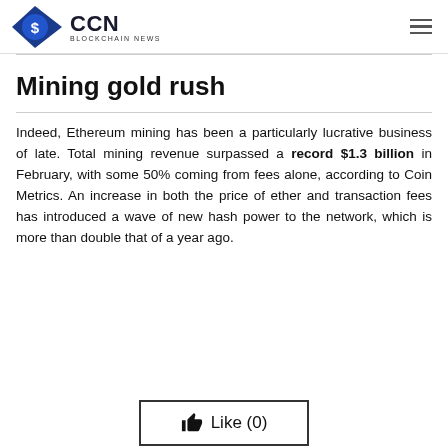CCN BLOCKCHAIN NEWS
Mining gold rush
Indeed, Ethereum mining has been a particularly lucrative business of late. Total mining revenue surpassed a record $1.3 billion in February, with some 50% coming from fees alone, according to Coin Metrics. An increase in both the price of ether and transaction fees has introduced a wave of new hash power to the network, which is more than double that of a year ago.